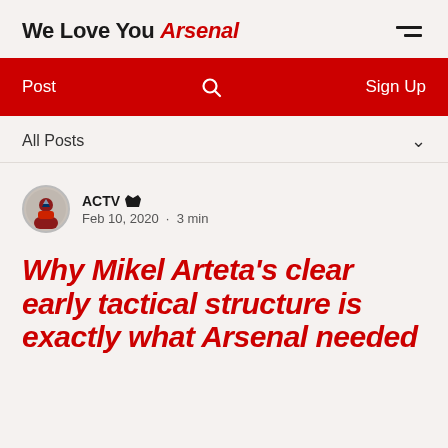We Love You Arsenal
Post  Search  Sign Up
All Posts
ACTV Admin
Feb 10, 2020 · 3 min
Why Mikel Arteta's clear early tactical structure is exactly what Arsenal needed